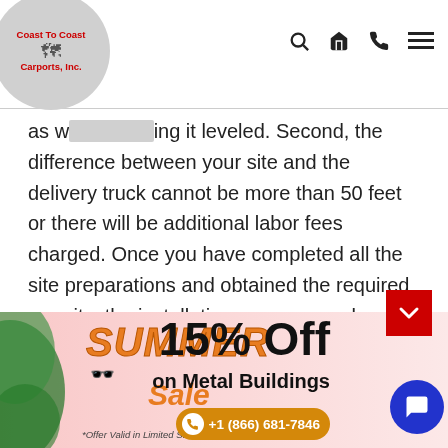[Figure (logo): Coast To Coast Carports, Inc. logo in a circular badge with a US map graphic]
as well as having it leveled. Second, the difference between your site and the delivery truck cannot be more than 50 feet or there will be additional labor fees charged. Once you have completed all the site preparations and obtained the required permits, the installation process can begin. And to say thank you for your service, we include all delivery and installation services in your final price.
[Figure (infographic): Summer Sale banner advertisement: 15% Off on Metal Buildings, phone number +1 (866) 681-7846, *Offer Valid in Limited States Only]